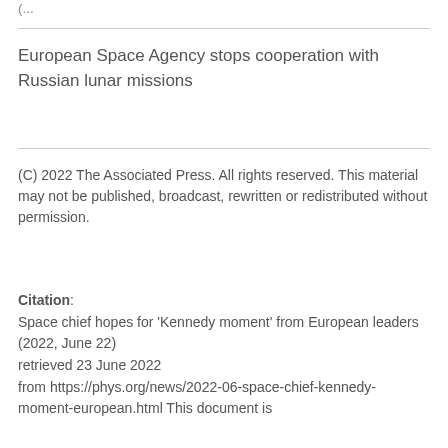(partial text cut off at top)
European Space Agency stops cooperation with Russian lunar missions
(C) 2022 The Associated Press. All rights reserved. This material may not be published, broadcast, rewritten or redistributed without permission.
Citation:
Space chief hopes for 'Kennedy moment' from European leaders (2022, June 22)
retrieved 23 June 2022
from https://phys.org/news/2022-06-space-chief-kennedy-moment-european.html This document is